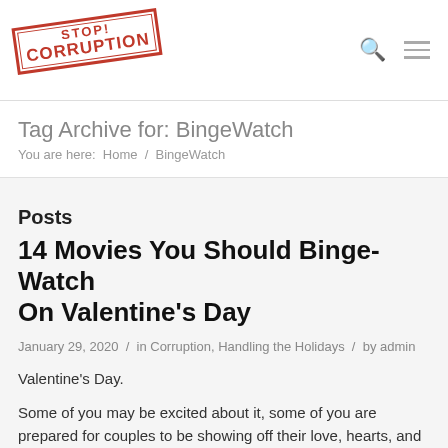[Figure (logo): Stop! Corruption stamp logo in red, rotated slightly]
Tag Archive for: BingeWatch
You are here: Home / BingeWatch
Posts
14 Movies You Should Binge-Watch On Valentine's Day
January 29, 2020  /  in Corruption, Handling the Holidays  /  by admin
Valentine's Day.
Some of you may be excited about it, some of you are prepared for couples to be showing off their love, hearts, and roses all around you, but don't worry, you don't have to be